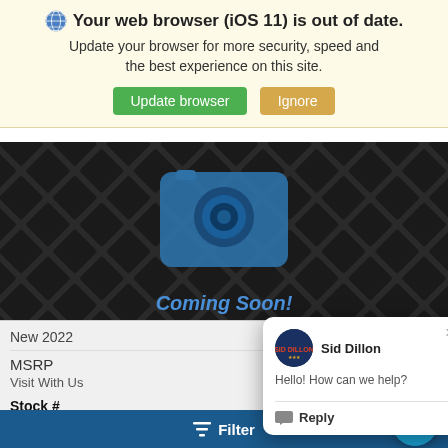Your web browser (iOS 11) is out of date.
Update your browser for more security, speed and the best experience on this site.
[Figure (screenshot): Browser update notification banner with Update browser (green) and Ignore (tan) buttons, followed by a car dealership webpage showing a Coming Soon camera image placeholder and a Sid Dillon chat popup widget saying 'Hello! How can we help?' with a Reply option, vehicle info showing New 2022, MSRP, Visit With Us, Stock #, 3221404, a teal chat bubble button, and a blue Filter bar at the bottom.]